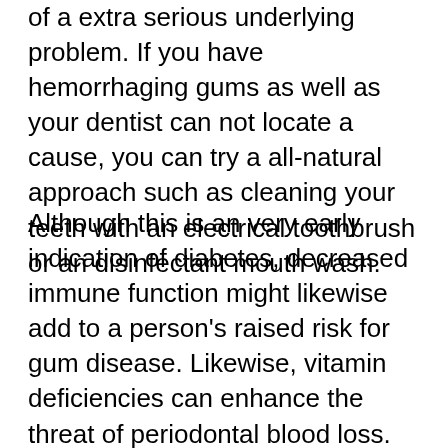of a extra serious underlying problem. If you have hemorrhaging gums as well as your dentist can not locate a cause, you can try a all-natural approach such as cleaning your teeth with an electrical toothbrush or an disinfectant mouth wash.
Although this is an very early indication of diabetes, decreased immune function might likewise add to a person's raised risk for gum disease. Likewise, vitamin deficiencies can enhance the threat of periodontal blood loss. Vitamin C as well as vitamin K intake can help reduce gum tissue blood loss. As pointed out over, a healthy and balanced diet can aid avoid the start of hemorrhaging gum tissues. The major goal is to obtain your teeth to look their finest and also feel great.